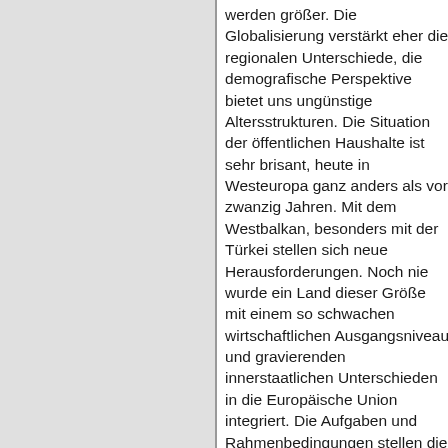werden größer. Die Globalisierung verstärkt eher die regionalen Unterschiede, die demografische Perspektive bietet uns ungünstige Altersstrukturen. Die Situation der öffentlichen Haushalte ist sehr brisant, heute in Westeuropa ganz anders als vor zwanzig Jahren. Mit dem Westbalkan, besonders mit der Türkei stellen sich neue Herausforderungen. Noch nie wurde ein Land dieser Größe mit einem so schwachen wirtschaftlichen Ausgangsniveau und gravierenden innerstaatlichen Unterschieden in die Europäische Union integriert. Die Aufgaben und Rahmenbedingungen stellen die Strukturpolitik also vor enorme Herausforderungen. Gleichzeitig wächst durch neue Mitglieder der Finanzbedarf. Dazu nur eine einzige Zahl: Wenn wir die Auswirkungen des Beitritts Rumäniens und Bulgariens auf die Strukturpolitik vollständig berechnen, wenn wir gleichzeitig von der Annahme ausgehen, die Länder, die Heranführungshilfe